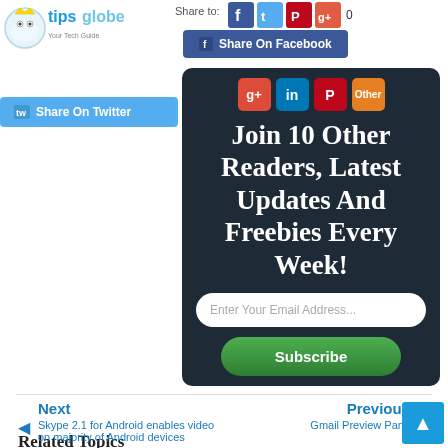[Figure (screenshot): TipsGlobe website logo in top left corner with cartoon character]
Share to:
[Figure (screenshot): Social sharing icons row: Facebook, Twitter, Pinterest, and a counter showing 0]
[Figure (screenshot): Share On Facebook blue button]
[Figure (screenshot): Share On Twitter light blue button]
[Figure (screenshot): Dark subscribe box with social icons (Google+, LinkedIn, Pinterest, Other), headline text, email input field and Subscribe button]
Join 10 Other Readers, Latest Updates And Freebies Every Week!
Enter Your Email Address...
Subscribe
Next
Skype 2.1 for Android enables video on majority of Android devices
Previous
Gmail Preview Pane
Related Topics